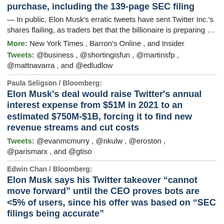purchase, including the 139-page SEC filing
— In public, Elon Musk's erratic tweets have sent Twitter Inc.'s shares flailing, as traders bet that the billionaire is preparing …
More: New York Times, Barron's Online, and Insider
Tweets: @business, @shortingisfun, @martinsfp, @mattnavarra, and @edludlow
Paula Seligson / Bloomberg:
Elon Musk's deal would raise Twitter's annual interest expense from $51M in 2021 to an estimated $750M-$1B, forcing it to find new revenue streams and cut costs
Tweets: @evanmcmurry, @nkulw, @eroston, @parismarx, and @gtiso
Edwin Chan / Bloomberg:
Elon Musk says his Twitter takeover “cannot move forward” until the CEO proves bots are <5% of users, since his offer was based on “SEC filings being accurate”
Source: @elonmusk. More: Insider, PCMag, Wired, Fortune, Futurism, TechWRAL, TechWire, The Guardian...